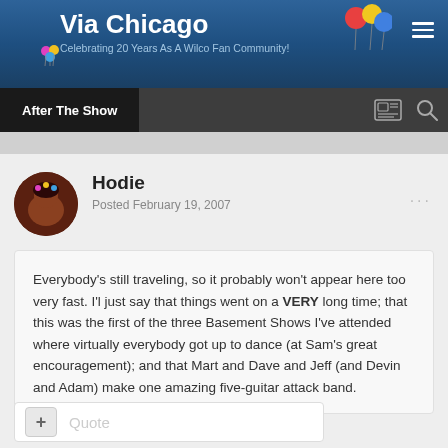Via Chicago — Celebrating 20 Years As A Wilco Fan Community!
After The Show
Hodie
Posted February 19, 2007
Everybody's still traveling, so it probably won't appear here too very fast. I'l just say that things went on a VERY long time; that this was the first of the three Basement Shows I've attended where virtually everybody got up to dance (at Sam's great encouragement); and that Mart and Dave and Jeff (and Devin and Adam) make one amazing five-guitar attack band.